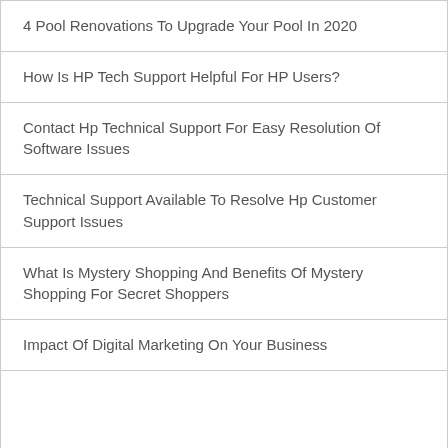4 Pool Renovations To Upgrade Your Pool In 2020
How Is HP Tech Support Helpful For HP Users?
Contact Hp Technical Support For Easy Resolution Of Software Issues
Technical Support Available To Resolve Hp Customer Support Issues
What Is Mystery Shopping And Benefits Of Mystery Shopping For Secret Shoppers
Impact Of Digital Marketing On Your Business